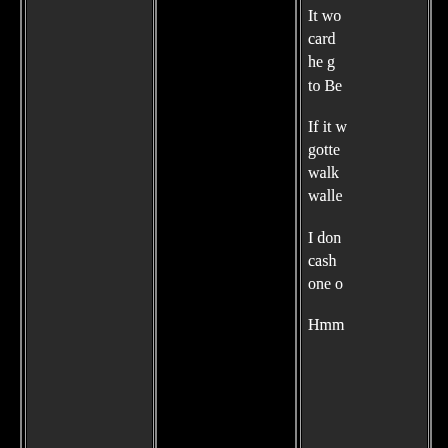[Figure (photo): Dark image with vertical stripes — two groups of parallel light and dark vertical bands against a black background, resembling a door edge or binding spine]
It wo card he g to Be

If it w gotte walk walle

I don cash one 

Hmm